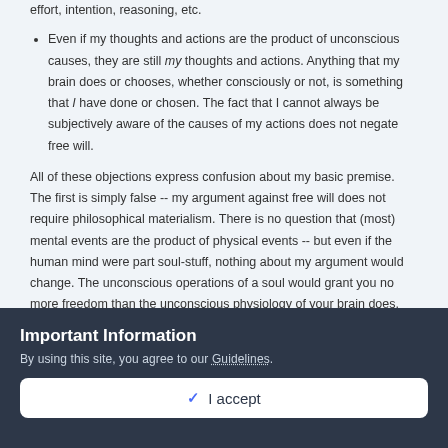effort, intention, reasoning, etc.
Even if my thoughts and actions are the product of unconscious causes, they are still my thoughts and actions. Anything that my brain does or chooses, whether consciously or not, is something that I have done or chosen. The fact that I cannot always be subjectively aware of the causes of my actions does not negate free will.
All of these objections express confusion about my basic premise. The first is simply false -- my argument against free will does not require philosophical materialism. There is no question that (most) mental events are the product of physical events -- but even if the human mind were part soul-stuff, nothing about my argument would change. The unconscious operations of a soul would grant you no more freedom than the unconscious physiology of your brain does.
If you don't know what your soul is going to do next, or why it behaved as it did a moment ago, you are not in control of your soul. This is obviously true in all cases
Important Information
By using this site, you agree to our Guidelines.
✓ I accept